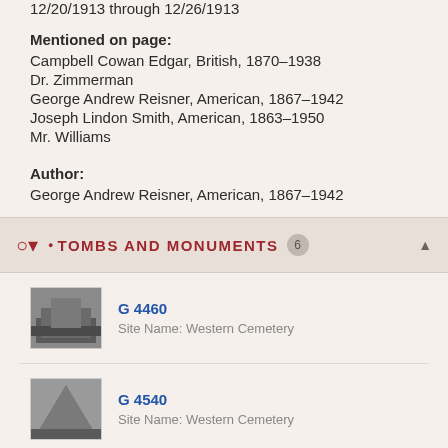12/20/1913 through 12/26/1913
Mentioned on page:
Campbell Cowan Edgar, British, 1870–1938
Dr. Zimmerman
George Andrew Reisner, American, 1867–1942
Joseph Lindon Smith, American, 1863–1950
Mr. Williams
Author:
George Andrew Reisner, American, 1867–1942
TOMBS AND MONUMENTS 6
G 4460
Site Name: Western Cemetery
G 4540
Site Name: Western Cemetery
G 4640